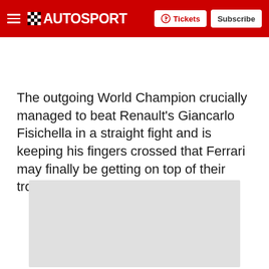AUTOSPORT — Tickets | Subscribe
The outgoing World Champion crucially managed to beat Renault's Giancarlo Fisichella in a straight fight and is keeping his fingers crossed that Ferrari may finally be getting on top of their troubles.
[Figure (photo): Placeholder image area, light gray rectangle]